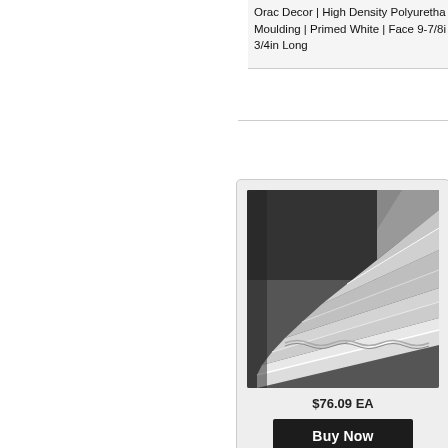Orac Decor | High Density Polyurethane Moulding | Primed White | Face 9-7/8in | 3/4in Long
[Figure (photo): Grayscale photo of white decorative crown moulding pieces installed at wall-ceiling junction against a dark background.]
$76.09 EA
Buy Now
C307
Crown Moulding